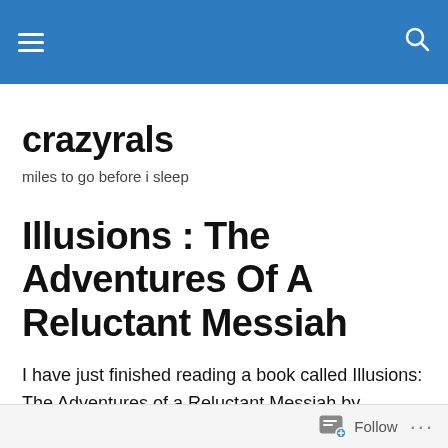crazyrals — navigation bar with hamburger menu and search icon
crazyrals
miles to go before i sleep
Illusions : The Adventures Of A Reluctant Messiah
I have just finished reading a book called Illusions: The Adventures of a Reluctant Messiah by Richard Bach. This is not the first Richard Bach book I have read. Earlier I had enjoyed his Jonathan Livingston Seagull which was about breaking away from conventions, taking the path less
Follow ...